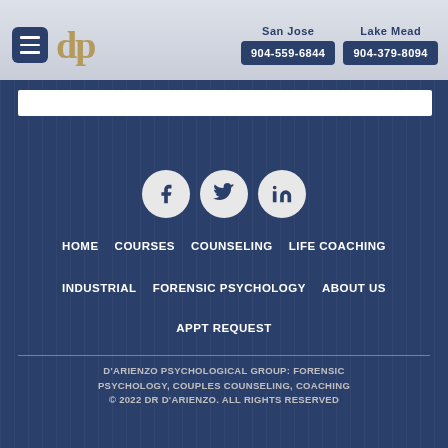San Jose 904-559-6844 | Lake Mead 904-379-8094
[Figure (illustration): dp logo in gold serif font]
[Figure (illustration): Social media icons: Facebook, Twitter, LinkedIn]
HOME
COURSES
COUNSELING
LIFE COACHING
INDUSTRIAL
FORENSIC PSYCHOLOGY
ABOUT US
APPT REQUEST
D'ARIENZO PSYCHOLOGICAL GROUP: FORENSIC PSYCHOLOGY, COUPLES COUNSELING, COACHING © 2022 DR D'ARIENZO. ALL RIGHTS RESERVED